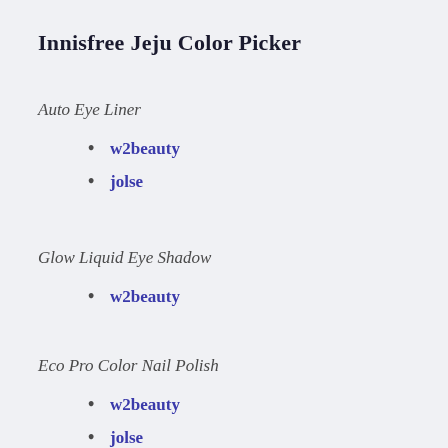Innisfree Jeju Color Picker
Auto Eye Liner
w2beauty
jolse
Glow Liquid Eye Shadow
w2beauty
Eco Pro Color Nail Polish
w2beauty
jolse